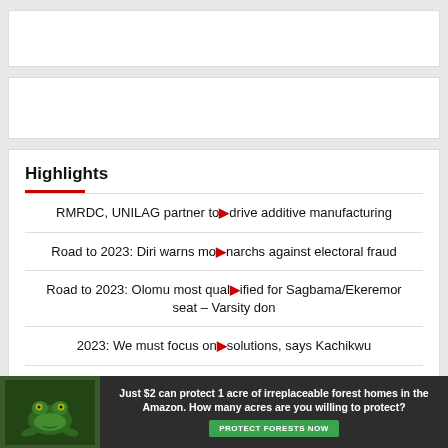[Figure (other): Top advertisement banner (white rectangle)]
[Figure (other): Middle advertisement banner (white rectangle)]
Highlights
RMRDC, UNILAG partner to drive additive manufacturing
Road to 2023: Diri warns monarchs against electoral fraud
Road to 2023: Olomu most qualified for Sagbama/Ekeremor seat – Varsity don
2023: We must focus on solutions, says Kachikwu
[Figure (other): Bottom advertisement banner: forest conservation ad with frog image. Text: Just $2 can protect 1 acre of irreplaceable forest homes in the Amazon. How many acres are you willing to protect? PROTECT FORESTS NOW]